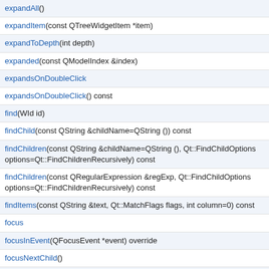expandAll()
expandItem(const QTreeWidgetItem *item)
expandToDepth(int depth)
expanded(const QModelIndex &index)
expandsOnDoubleClick
expandsOnDoubleClick() const
find(WId id)
findChild(const QString &childName=QString ()) const
findChildren(const QString &childName=QString (), Qt::FindChildOptions options=Qt::FindChildrenRecursively) const
findChildren(const QRegularExpression &regExp, Qt::FindChildOptions options=Qt::FindChildrenRecursively) const
findItems(const QString &text, Qt::MatchFlags flags, int column=0) const
focus
focusInEvent(QFocusEvent *event) override
focusNextChild()
focusNextPrevChild(bool next) override